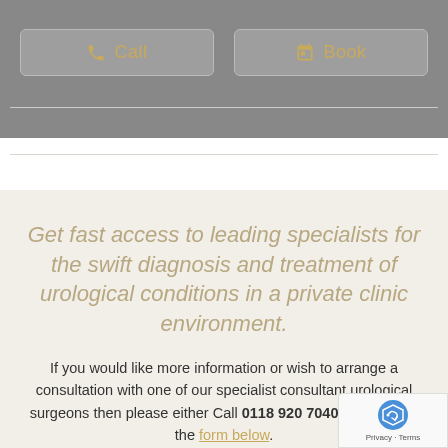[Figure (screenshot): Top navigation bar with grey background containing two buttons: a 'Call' button with phone icon and a 'Book' button with calendar icon, both styled in gold/tan color]
Get fast access to leading specialists for the swift diagnosis and treatment of urological conditions in a private clinic environment.
If you would like more information or wish to arrange a consultation with one of our specialist consultant urological surgeons then please either Call 0118 920 7040 or complete the form below.